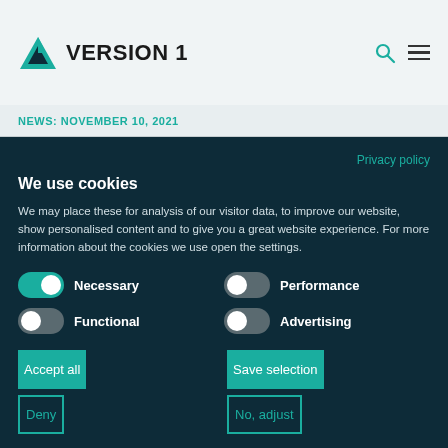[Figure (logo): Version 1 company logo with teal triangle/arrow icon and bold text VERSION 1]
NEWS: NOVEMBER 10, 2021
Privacy policy
We use cookies
We may place these for analysis of our visitor data, to improve our website, show personalised content and to give you a great website experience. For more information about the cookies we use open the settings.
Necessary (toggle on)
Performance (toggle off)
Functional (toggle off)
Advertising (toggle off)
Accept all
Save selection
Deny
No, adjust